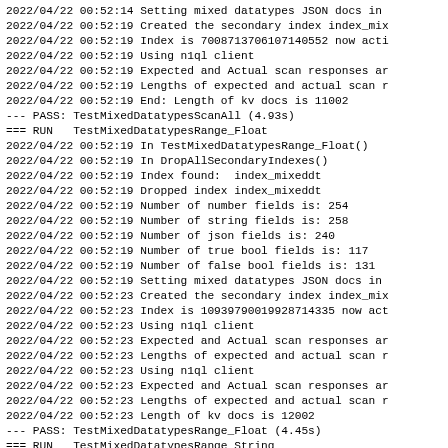2022/04/22 00:52:14 Setting mixed datatypes JSON docs in
2022/04/22 00:52:19 Created the secondary index index_mix
2022/04/22 00:52:19 Index is 7008713706107140552 now acti
2022/04/22 00:52:19 Using n1ql client
2022/04/22 00:52:19 Expected and Actual scan responses ar
2022/04/22 00:52:19 Lengths of expected and actual scan r
2022/04/22 00:52:19 End: Length of kv docs is 11002
--- PASS: TestMixedDatatypesScanAll (4.93s)
=== RUN   TestMixedDatatypesRange_Float
2022/04/22 00:52:19 In TestMixedDatatypesRange_Float()
2022/04/22 00:52:19 In DropAllSecondaryIndexes()
2022/04/22 00:52:19 Index found:  index_mixeddt
2022/04/22 00:52:19 Dropped index index_mixeddt
2022/04/22 00:52:19 Number of number fields is: 254
2022/04/22 00:52:19 Number of string fields is: 258
2022/04/22 00:52:19 Number of json fields is: 240
2022/04/22 00:52:19 Number of true bool fields is: 117
2022/04/22 00:52:19 Number of false bool fields is: 131
2022/04/22 00:52:19 Setting mixed datatypes JSON docs in
2022/04/22 00:52:23 Created the secondary index index_mix
2022/04/22 00:52:23 Index is 10939790019928714335 now act
2022/04/22 00:52:23 Using n1ql client
2022/04/22 00:52:23 Expected and Actual scan responses ar
2022/04/22 00:52:23 Lengths of expected and actual scan r
2022/04/22 00:52:23 Using n1ql client
2022/04/22 00:52:23 Expected and Actual scan responses ar
2022/04/22 00:52:23 Lengths of expected and actual scan r
2022/04/22 00:52:23 Length of kv docs is 12002
--- PASS: TestMixedDatatypesRange_Float (4.45s)
=== RUN   TestMixedDatatypesRange_String